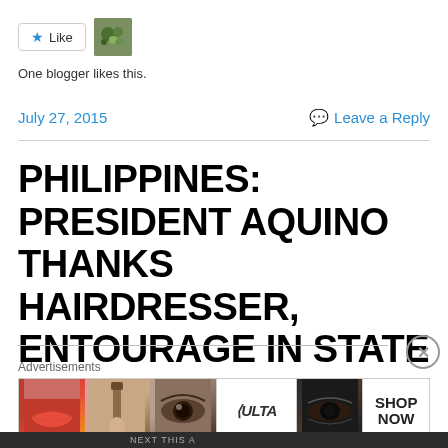One blogger likes this.
July 27, 2015
Leave a Reply
PHILIPPINES: PRESIDENT AQUINO THANKS HAIRDRESSER, ENTOURAGE IN STATE OF THE NATION ADDRESS
Advertisements
[Figure (other): ULTA beauty advertisement banner showing makeup imagery (lips, brush, eye, ULTA logo, eye close-up) with SHOP NOW call to action]